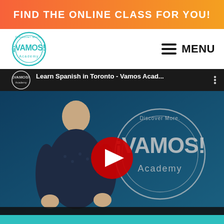FIND THE ONLINE CLASS FOR YOU!
[Figure (logo): Vamos Academy circular logo with teal border and text 'Discover More. ¡VAMOS! Academy']
≡ MENU
[Figure (screenshot): YouTube video thumbnail showing a man in a dark shirt standing in front of a Vamos Academy sign on a blue background. Video title: 'Learn Spanish in Toronto - Vamos Acad...' with YouTube play button overlay.]